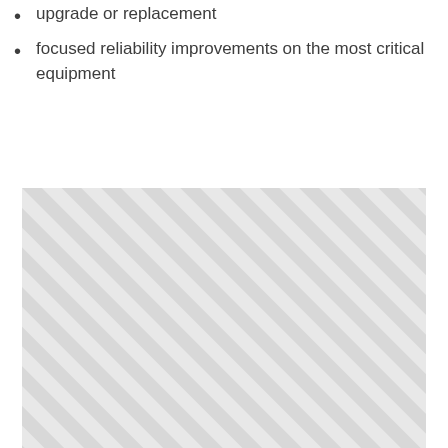upgrade or replacement
focused reliability improvements on the most critical equipment
[Figure (other): Hatched/striped placeholder image area with diagonal light grey stripes on a slightly darker grey background]